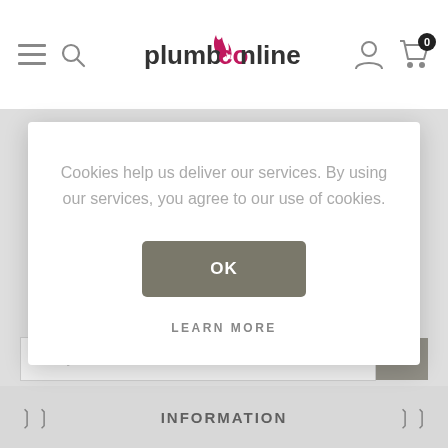plumbconline — navigation header with menu, search, account, and cart icons
[Figure (logo): PlumbCo Online logo with stylized pink/red flame icon and bold text 'plumbco' with 'online']
Cookies help us deliver our services. By using our services, you agree to our use of cookies.
OK
LEARN MORE
Enter your email here...
INFORMATION